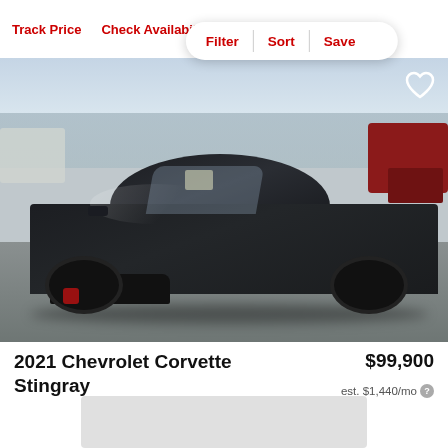Track Price   Check Availability
Filter | Sort | Save
[Figure (photo): Black 2021 Chevrolet Corvette Stingray sports car photographed at a dealership lot. The car is dark black/charcoal, mid-engine layout, shown from a front 3/4 angle. Other vehicles visible in background.]
2021 Chevrolet Corvette Stingray
$99,900
est. $1,440/mo